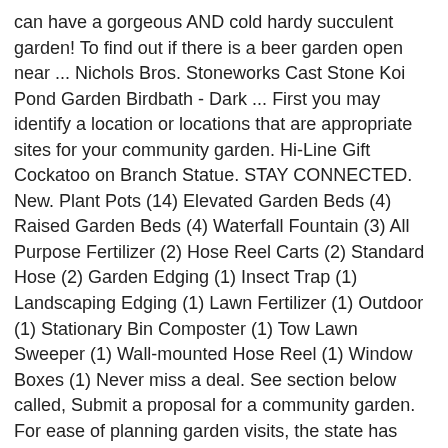can have a gorgeous AND cold hardy succulent garden! To find out if there is a beer garden open near ... Nichols Bros. Stoneworks Cast Stone Koi Pond Garden Birdbath - Dark ... First you may identify a location or locations that are appropriate sites for your community garden. Hi-Line Gift Cockatoo on Branch Statue. STAY CONNECTED. New. Plant Pots (14) Elevated Garden Beds (4) Raised Garden Beds (4) Waterfall Fountain (3) All Purpose Fertilizer (2) Hose Reel Carts (2) Standard Hose (2) Garden Edging (1) Insect Trap (1) Landscaping Edging (1) Lawn Fertilizer (1) Outdoor (1) Stationary Bin Composter (1) Tow Lawn Sweeper (1) Wall-mounted Hose Reel (1) Window Boxes (1) Never miss a deal. See section below called, Submit a proposal for a community garden. For ease of planning garden visits, the state has been divided into 4 regions.
Fallout: New Vegas True Ending, Koelreuteria Paniculata Cultivars, Townhomes For Rent...